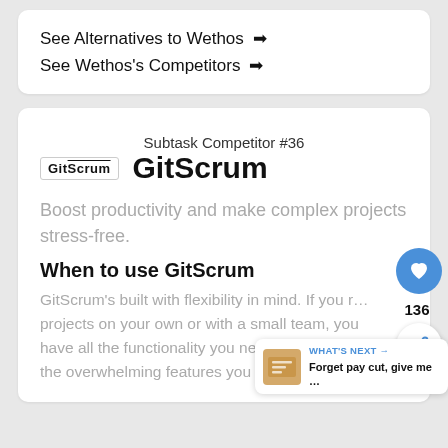See Alternatives to Wethos →
See Wethos's Competitors →
Subtask Competitor #36
GitScrum
Boost productivity and make complex projects stress-free.
When to use GitScrum
GitScrum's built with flexibility in mind. If you r… projects on your own or with a small team, you have all the functionality you need wit… the overwhelming features you don't.